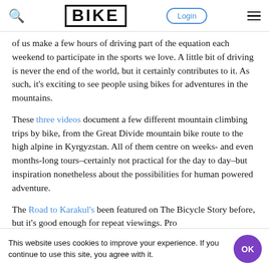BIKE — Login — menu
of us make a few hours of driving part of the equation each weekend to participate in the sports we love. A little bit of driving is never the end of the world, but it certainly contributes to it. As such, it's exciting to see people using bikes for adventures in the mountains.
These three videos document a few different mountain climbing trips by bike, from the Great Divide mountain bike route to the high alpine in Kyrgyzstan. All of them centre on weeks- and even months-long tours–certainly not practical for the day to day–but inspiration nonetheless about the possibilities for human powered adventure.
The Road to Karakul's been featured on The Bicycle Story before, but it's good enough for repeat viewings. Pro
This website uses cookies to improve your experience. If you continue to use this site, you agree with it.